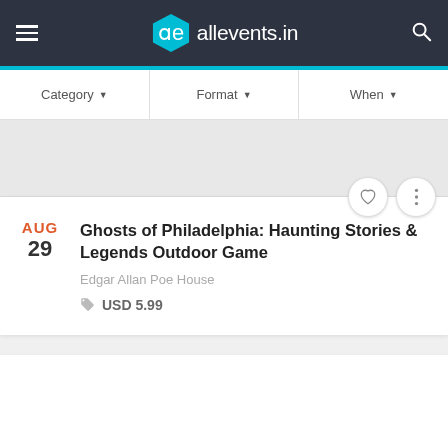allevents.in
Category  Format  When
[Figure (screenshot): Gray image placeholder area for event]
Ghosts of Philadelphia: Haunting Stories & Legends Outdoor Game
AUG 29
Edgar Allan Poe House
USD 5.99
[Figure (screenshot): Second event card placeholder area]